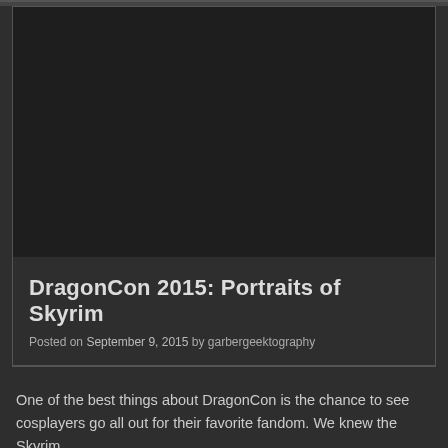[Figure (photo): Dark/black image area at the top of the blog post card, likely a placeholder or very dark photograph]
DragonCon 2015: Portraits of Skyrim
Posted on September 9, 2015 by garbergeektography
One of the best things about DragonCon is the chance to see cosplayers go all out for their favorite fandom. We knew the Skyrim...